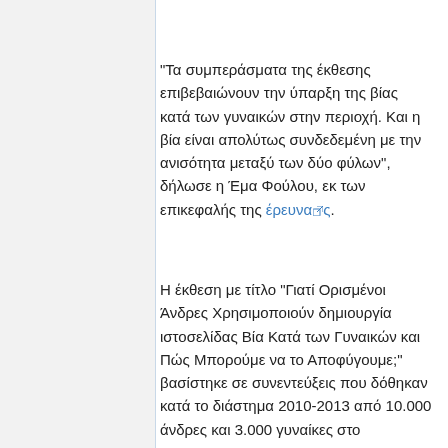"Τα συμπεράσματα της έκθεσης επιβεβαιώνουν την ύπαρξη της βίας κατά των γυναικών στην περιοχή. Και η βία είναι απολύτως συνδεδεμένη με την ανισότητα μεταξύ των δύο φύλων", δήλωσε η Έμα Φούλου, εκ των επικεφαλής της έρευνας.
Η έκθεση με τίτλο "Γιατί Ορισμένοι Άνδρες Χρησιμοποιούν δημιουργία ιστοσελίδας Βία Κατά των Γυναικών και Πώς Μπορούμε να το Αποφύγουμε;" βασίστηκε σε συνεντεύξεις που δόθηκαν κατά το διάστημα 2010-2013 από 10.000 άνδρες και 3.000 γυναίκες στο